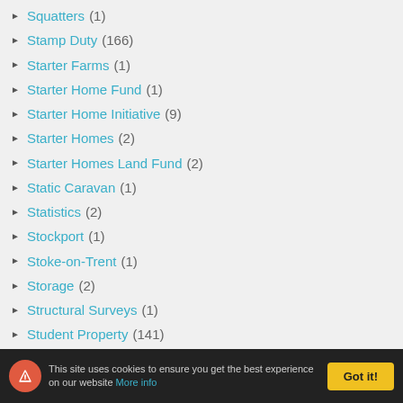Squatters (1)
Stamp Duty (166)
Starter Farms (1)
Starter Home Fund (1)
Starter Home Initiative (9)
Starter Homes (2)
Starter Homes Land Fund (2)
Static Caravan (1)
Statistics (2)
Stockport (1)
Stoke-on-Trent (1)
Storage (2)
Structural Surveys (1)
Student Property (141)
Sub Letting (11)
This site uses cookies to ensure you get the best experience on our website More info